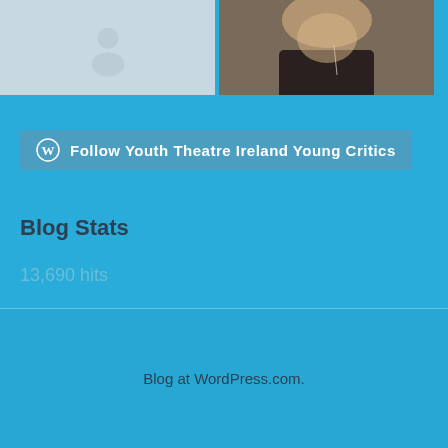[Figure (photo): Two profile/avatar images at the top of the page: left image shows a grey WordPress-style default avatar silhouette on light grey background, right image shows a person (partially visible) in dark clothing]
Follow Youth Theatre Ireland Young Critics
Blog Stats
13,690 hits
Blog at WordPress.com.